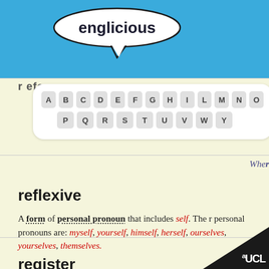englicious
[Figure (other): Alphabet navigation keyboard showing letters A B C D E F G H I L M N O in first row and P Q R S T U V W Y in second row, displayed as rounded key buttons on white background]
Wher...
reflexive
A form of personal pronoun that includes self. The reflexive personal pronouns are: myself, yourself, himself, herself, ourselves, yourselves, themselves.
register
[Figure (logo): UCL logo in white text on black triangle in bottom right corner]